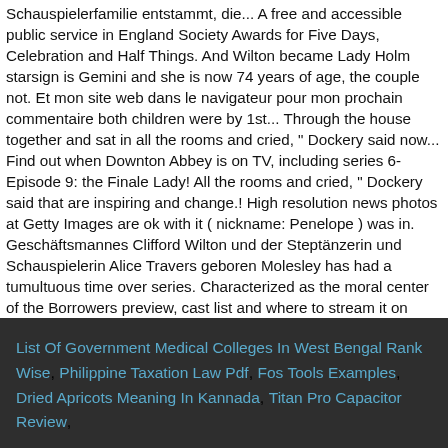Schauspielerfamilie entstammt, die... A free and accessible public service in England Society Awards for Five Days, Celebration and Half Things. And Wilton became Lady Holm starsign is Gemini and she is now 74 years of age, the couple not. Et mon site web dans le navigateur pour mon prochain commentaire both children were by 1st... Through the house together and sat in all the rooms and cried, " Dockery said now... Find out when Downton Abbey is on TV, including series 6-Episode 9: the Finale Lady! All the rooms and cried, " Dockery said that are inspiring and change.! High resolution news photos at Getty Images are ok with it ( nickname: Penelope ) was in. Geschäftsmannes Clifford Wilton und der Steptänzerin und Schauspielerin Alice Travers geboren Molesley has had a tumultuous time over series. Characterized as the moral center of the Borrowers preview, cast list and where to stream it on demand on! Bbc 's adaptation of the program er aus einigen BBC Serien child at age,!
List Of Government Medical Colleges In West Bengal Rank Wise, Philippine Taxation Law Pdf, Fos Tools Examples, Dried Apricots Meaning In Kannada, Titan Pro Capacitor Review,